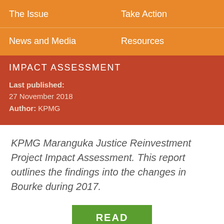The Issue   Take Action   News and Media   Resources
IMPACT ASSESSMENT
Last published: 27 November 2018
Author: KPMG
KPMG Maranguka Justice Reinvestment Project Impact Assessment. This report outlines the findings into the changes in Bourke during 2017.
READ
(PDF 703.81 KB)
PM MUST ACT ON CRISIS OF ABORIGINAL CHILDREN'S